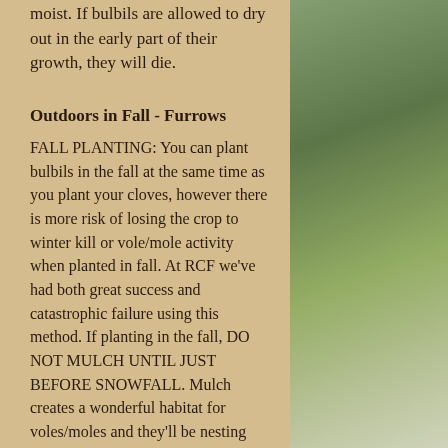moist. If bulbils are allowed to dry out in the early part of their growth, they will die.
Outdoors in Fall - Furrows
FALL PLANTING: You can plant bulbils in the fall at the same time as you plant your cloves, however there is more risk of losing the crop to winter kill or vole/mole activity when planted in fall. At RCF we've had both great success and catastrophic failure using this method. If planting in the fall, DO NOT MULCH UNTIL JUST BEFORE SNOWFALL. Mulch creates a wonderful habitat for voles/moles and they'll be nesting right above their